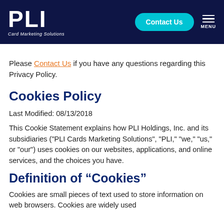PLI Card Marketing Solutions | Contact Us | MENU
Please Contact Us if you have any questions regarding this Privacy Policy.
Cookies Policy
Last Modified: 08/13/2018
This Cookie Statement explains how PLI Holdings, Inc. and its subsidiaries ("PLI Cards Marketing Solutions", "PLI," "we," "us," or "our") uses cookies on our websites, applications, and online services, and the choices you have.
Definition of “Cookies”
Cookies are small pieces of text used to store information on web browsers. Cookies are widely used